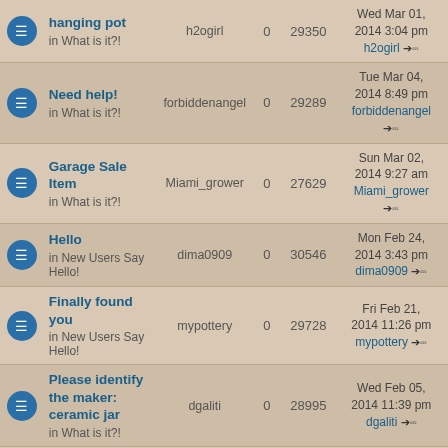|  | Topic | Author | Replies | Views | Last Post |
| --- | --- | --- | --- | --- | --- |
| [icon] | hanging pot
in What is it?! | h2ogirl | 0 | 29350 | Wed Mar 01, 2014 3:04 pm
h2ogirl |
| [icon] | Need help!
in What is it?! | forbiddenangel | 0 | 29289 | Tue Mar 04, 2014 8:49 pm
forbiddenangel |
| [icon] | Garage Sale Item
in What is it?! | Miami_grower | 0 | 27629 | Sun Mar 02, 2014 9:27 am
Miami_grower |
| [icon] | Hello
in New Users Say Hello! | dima0909 | 0 | 30546 | Mon Feb 24, 2014 3:43 pm
dima0909 |
| [icon] | Finally found you
in New Users Say Hello! | mypottery | 0 | 29728 | Fri Feb 21, 2014 11:26 pm
mypottery |
| [icon] | Please identify the maker: ceramic jar
in What is it?! | dgaliti | 0 | 28995 | Wed Feb 05, 2014 11:39 pm
dgaliti |
| [icon] | Do you recognize this
... | thinklikeadog | 0 | 29051 | Mon Feb 03, 2014 12:31 pm
... |